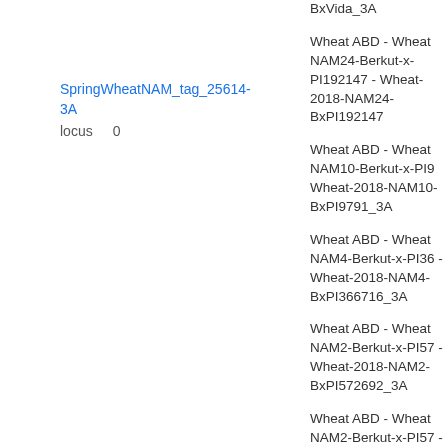SpringWheatNAM_tag_25614-3A    locus  0
BxVida_3A
Wheat ABD - Wheat NAM24-Berkut-x-PI192147 - Wheat-2018-NAM24-BxPI192147
Wheat ABD - Wheat NAM10-Berkut-x-PI9 Wheat-2018-NAM10-BxPI9791_3A
Wheat ABD - Wheat NAM4-Berkut-x-PI36 - Wheat-2018-NAM4-BxPI366716_3A
Wheat ABD - Wheat NAM2-Berkut-x-PI57 - Wheat-2018-NAM2-BxPI572692_3A
Wheat ABD - Wheat NAM2-Berkut-x-PI57 - Wheat-2018-NAM2-BxPI572692_3A
Wheat ABD - Wheat NAM30-Berkut-x-PI278297 - Wheat-2018-NAM30-BxPI278297
Wheat ABD - Wheat